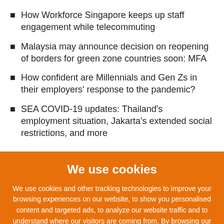How Workforce Singapore keeps up staff engagement while telecommuting
Malaysia may announce decision on reopening of borders for green zone countries soon: MFA
How confident are Millennials and Gen Zs in their employers' response to the pandemic?
SEA COVID-19 updates: Thailand's employment situation, Jakarta's extended social restrictions, and more
We use cookies
We use cookies and other tracking technologies to improve your browsing experiences on our website, to show you personalised content and targeted ads, to analyze our website traffic and to understand where our visitors are coming from. By browsing our website, you consent to our use of cookies and other tracking technologies. Click here for more information.
Accept